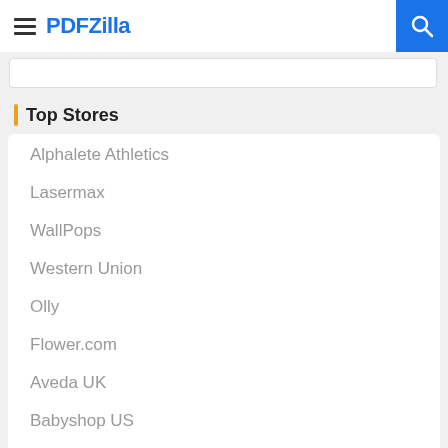PDFZilla
Top Stores
Alphalete Athletics
Lasermax
WallPops
Western Union
Olly
Flower.com
Aveda UK
Babyshop US
Melorra
Neurogan